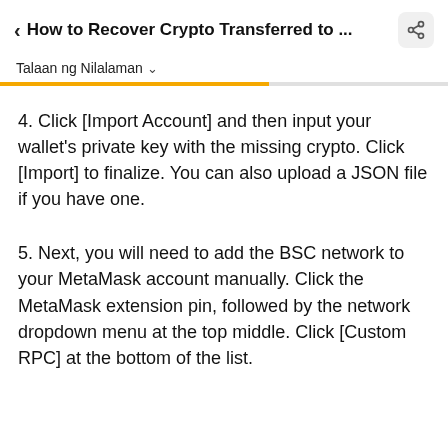< How to Recover Crypto Transferred to ...
Talaan ng Nilalaman
4. Click [Import Account] and then input your wallet's private key with the missing crypto. Click [Import] to finalize. You can also upload a JSON file if you have one.
5. Next, you will need to add the BSC network to your MetaMask account manually. Click the MetaMask extension pin, followed by the network dropdown menu at the top middle. Click [Custom RPC] at the bottom of the list.